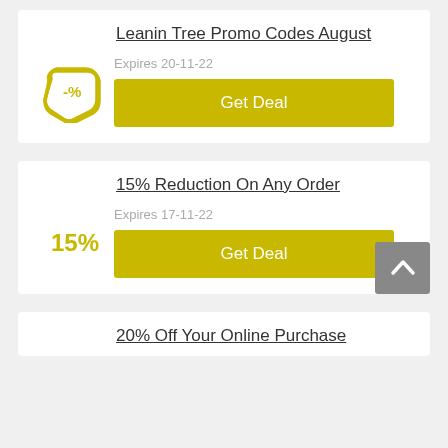Leanin Tree Promo Codes August
Expires 20-11-22
Get Deal
15% Reduction On Any Order
Expires 17-11-22
Get Deal
20% Off Your Online Purchase